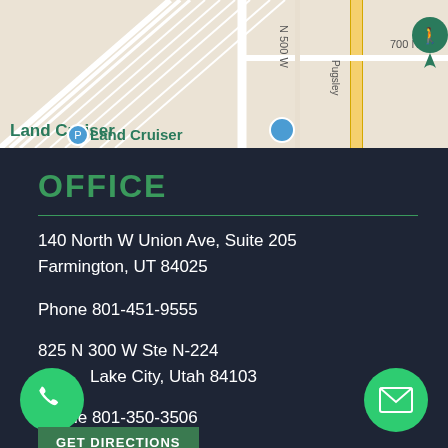[Figure (map): Google Maps screenshot showing streets in Farmington/Salt Lake City area, with 'Hell Canyon - Ensign Peak Trailhead' marker and 'Land Cruiser' label visible]
OFFICE
140 North W Union Ave, Suite 205
Farmington, UT 84025
Phone 801-451-9555
825 N 300 W Ste N-224
Lake City, Utah 84103
Phone 801-350-3506
GET DIRECTIONS